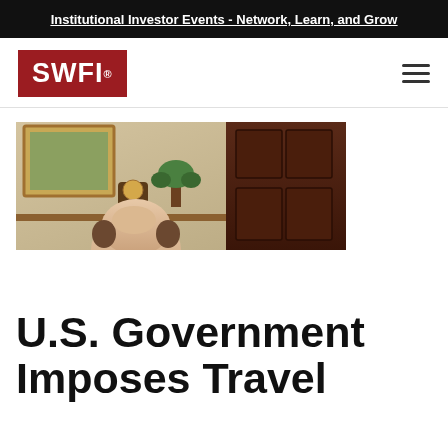Institutional Investor Events - Network, Learn, and Grow
[Figure (logo): SWFI logo in red box with white text]
[Figure (photo): Man looking down at desk in formal office setting with dark wooden door and framed artwork in background]
U.S. Government Imposes Travel